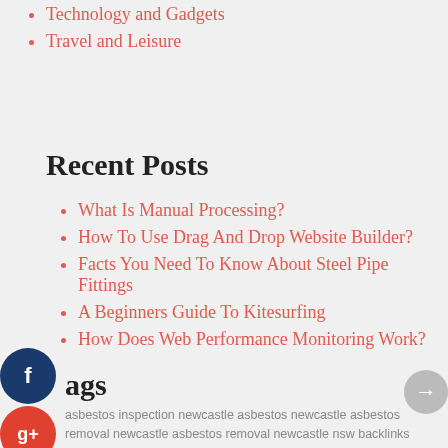Technology and Gadgets
Travel and Leisure
Recent Posts
What Is Manual Processing?
How To Use Drag And Drop Website Builder?
Facts You Need To Know About Steel Pipe Fittings
A Beginners Guide To Kitesurfing
How Does Web Performance Monitoring Work?
Tags
asbestos inspection newcastle asbestos newcastle asbestos removal newcastle asbestos removal newcastle nsw backlinks bath salt bath salt from Amazon